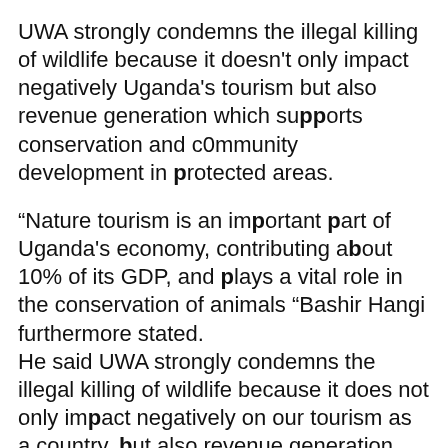UWA strongly condemns the illegal killing of wildlife because it doesn't only impact negatively Uganda's tourism but also revenue generation which supports conservation and c0mmunity development in protected areas.
“Nature tourism is an important part of Uganda's economy, contributing about 10% of its GDP, and plays a vital role in the conservation of animals “Bashir Hangi furthermore stated.
He said UWA strongly condemns the illegal killing of wildlife because it does not only impact negatively on our tourism as a country, but also revenue generation, which supports conservation and community work in our protected areas.
Tourism revenue plays a critical role in improving